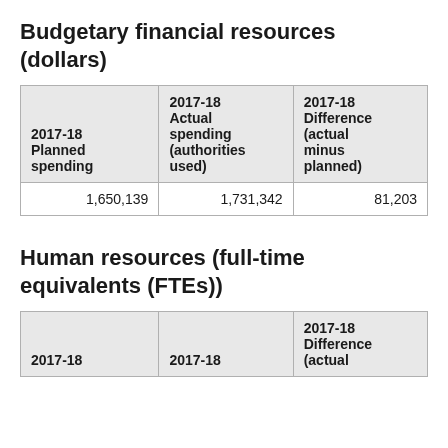Budgetary financial resources (dollars)
| 2017-18 Planned spending | 2017-18 Actual spending (authorities used) | 2017-18 Difference (actual minus planned) |
| --- | --- | --- |
| 1,650,139 | 1,731,342 | 81,203 |
Human resources (full-time equivalents (FTEs))
| 2017-18 | 2017-18 | 2017-18 Difference (actual |
| --- | --- | --- |